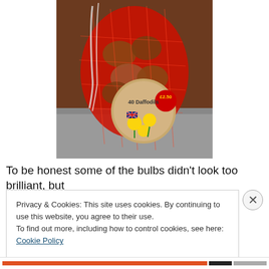[Figure (photo): A red mesh net bag of daffodil bulbs with a circular label reading '40 Daffodils £2.50' with a UK flag and yellow daffodil image, photographed on the ground.]
To be honest some of the bulbs didn't look too brilliant, but
Privacy & Cookies: This site uses cookies. By continuing to use this website, you agree to their use.
To find out more, including how to control cookies, see here: Cookie Policy
Close and accept